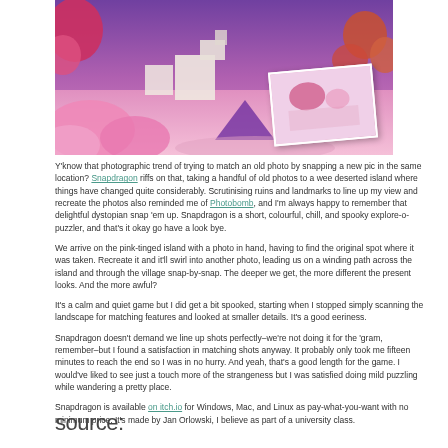[Figure (screenshot): Screenshot of Snapdragon game showing a pink-tinged fantasy island landscape with purple sky, pink vegetation, white buildings, and a polaroid-style photo inset in the lower right corner]
Y'know that photographic trend of trying to match an old photo by snapping a new pic in the same location? Snapdragon riffs on that, taking a handful of old photos to a wee deserted island where things have changed quite considerably. Scrutinising ruins and landmarks to line up my view and recreate the photos also reminded me of Photobomb, and I'm always happy to remember that delightful dystopian snap 'em up. Snapdragon is a short, colourful, chill, and spooky explore-o-puzzler, and that's it okay go have a look bye.
We arrive on the pink-tinged island with a photo in hand, having to find the original spot where it was taken. Recreate it and it'll swirl into another photo, leading us on a winding path across the island and through the village snap-by-snap. The deeper we get, the more different the present looks. And the more awful?
It's a calm and quiet game but I did get a bit spooked, starting when I stopped simply scanning the landscape for matching features and looked at smaller details. It's a good eeriness.
Snapdragon doesn't demand we line up shots perfectly–we're not doing it for the 'gram, remember–but I found a satisfaction in matching shots anyway. It probably only took me fifteen minutes to reach the end so I was in no hurry. And yeah, that's a good length for the game. I would've liked to see just a touch more of the strangeness but I was satisfied doing mild puzzling while wandering a pretty place.
Snapdragon is available on itch.io for Windows, Mac, and Linux as pay-what-you-want with no minimum price. It's made by Jan Orlowski, I believe as part of a university class.
source: